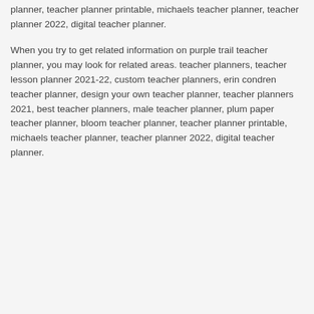planner, teacher planner printable, michaels teacher planner, teacher planner 2022, digital teacher planner.
When you try to get related information on purple trail teacher planner, you may look for related areas. teacher planners, teacher lesson planner 2021-22, custom teacher planners, erin condren teacher planner, design your own teacher planner, teacher planners 2021, best teacher planners, male teacher planner, plum paper teacher planner, bloom teacher planner, teacher planner printable, michaels teacher planner, teacher planner 2022, digital teacher planner.